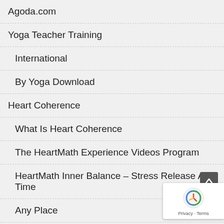Agoda.com
Yoga Teacher Training
International
By Yoga Download
Heart Coherence
What Is Heart Coherence
The HeartMath Experience Videos Program
HeartMath Inner Balance – Stress Release Any Time
Any Place
Manifestation